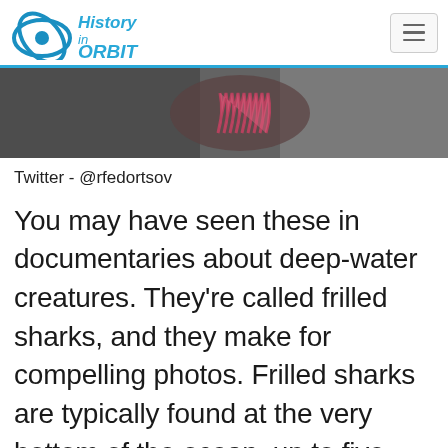History in Orbit
[Figure (photo): Close-up photo of a frilled shark's open mouth showing rows of sharp teeth, against a blurred dark background]
Twitter - @rfedortsov
You may have seen these in documentaries about deep-water creatures. They're called frilled sharks, and they make for compelling photos. Frilled sharks are typically found at the very bottom of the ocean, up to five thousand feet deep. The frilled shark, sort of like the Coelacanth, is dubbed a "living fossil" thanks to its extremely primitive physiology. They are